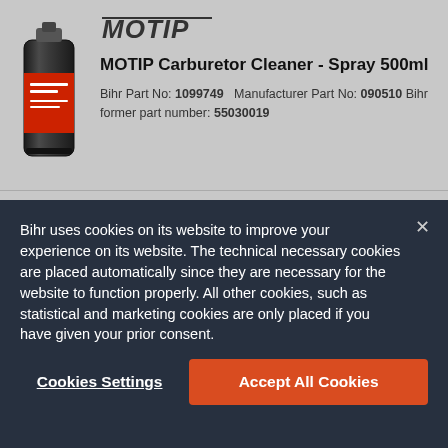[Figure (screenshot): Product page screenshot showing MOTIP Carburetor Cleaner Spray 500ml with price 8.82€ excl. VAT and quantity selector, overlaid by a cookie consent banner]
MOTIP Carburetor Cleaner - Spray 500ml
Bihr Part No: 1099749   Manufacturer Part No: 090510 Bihr former part number: 55030019
8.82€ EXCL. VAT
Bihr uses cookies on its website to improve your experience on its website. The technical necessary cookies are placed automatically since they are necessary for the website to function properly. All other cookies, such as statistical and marketing cookies are only placed if you have given your prior consent.
Cookies Settings
Accept All Cookies